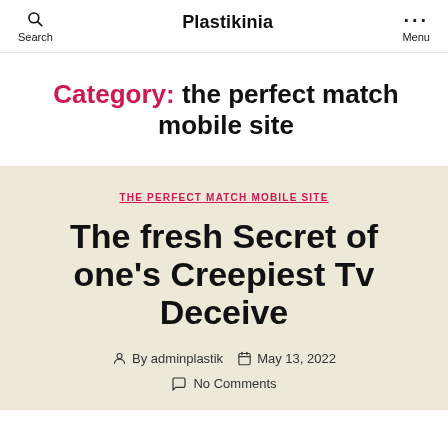Search | Plastikinia | Menu
Category: the perfect match mobile site
THE PERFECT MATCH MOBILE SITE
The fresh Secret of one's Creepiest Tv Deceive
By adminplastik  May 13, 2022  No Comments